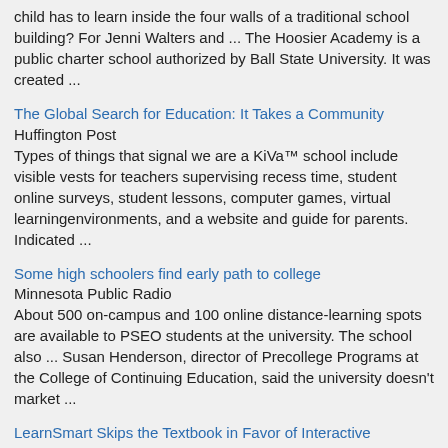child has to learn inside the four walls of a traditional school building? For Jenni Walters and ... The Hoosier Academy is a public charter school authorized by Ball State University. It was created ...
The Global Search for Education: It Takes a Community
Huffington Post
Types of things that signal we are a KiVa™ school include visible vests for teachers supervising recess time, student online surveys, student lessons, computer games, virtual learningenvironments, and a website and guide for parents. Indicated ...
Some high schoolers find early path to college
Minnesota Public Radio
About 500 on-campus and 100 online distance-learning spots are available to PSEO students at the university. The school also ... Susan Henderson, director of Precollege Programs at the College of Continuing Education, said the university doesn't market ...
LearnSmart Skips the Textbook in Favor of Interactive